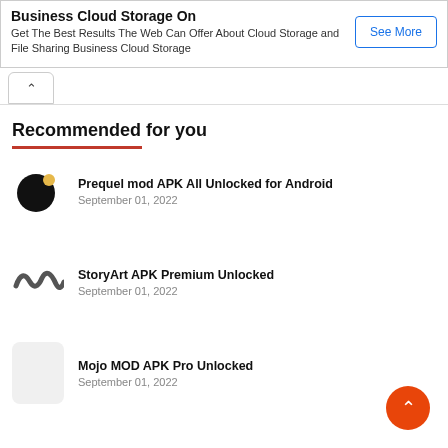Business Cloud Storage On
Get The Best Results The Web Can Offer About Cloud Storage and File Sharing Business Cloud Storage
See More
Recommended for you
Prequel mod APK All Unlocked for Android
September 01, 2022
StoryArt APK Premium Unlocked
September 01, 2022
Mojo MOD APK Pro Unlocked
September 01, 2022